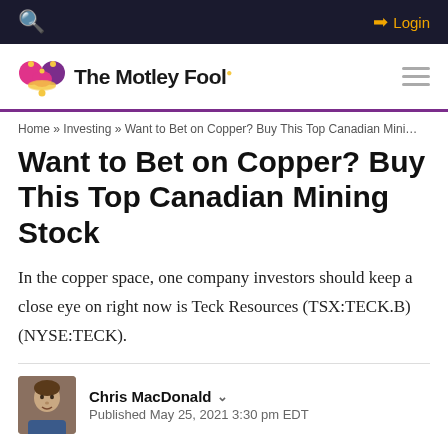🔍  ➡ Login
[Figure (logo): The Motley Fool logo with jester hat icon and hamburger menu]
Home » Investing » Want to Bet on Copper? Buy This Top Canadian Mini…
Want to Bet on Copper? Buy This Top Canadian Mining Stock
In the copper space, one company investors should keep a close eye on right now is Teck Resources (TSX:TECK.B)(NYSE:TECK).
Chris MacDonald ⌄
Published May 25, 2021 3:30 pm EDT